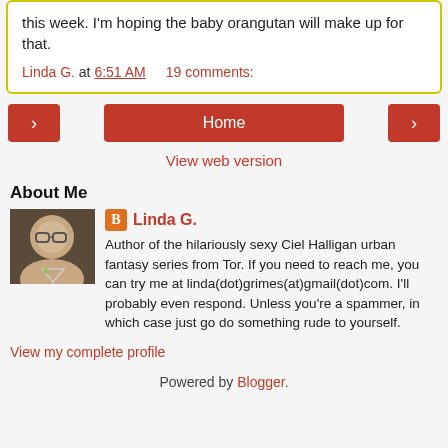this week. I'm hoping the baby orangutan will make up for that.
Linda G. at 6:51 AM    19 comments:
Home
View web version
About Me
Linda G.
Author of the hilariously sexy Ciel Halligan urban fantasy series from Tor. If you need to reach me, you can try me at linda(dot)grimes(at)gmail(dot)com. I'll probably even respond. Unless you're a spammer, in which case just go do something rude to yourself.
View my complete profile
Powered by Blogger.